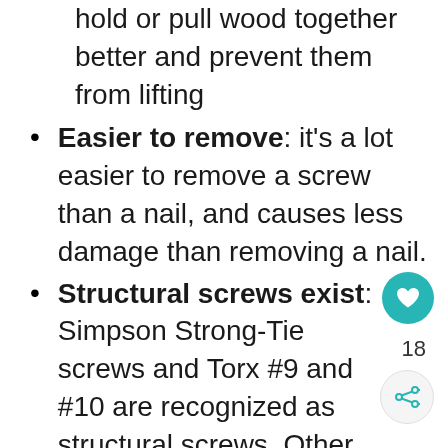hold or pull wood together better and prevent them from lifting
Easier to remove: it's a lot easier to remove a screw than a nail, and causes less damage than removing a nail.
Structural screws exist: Simpson Strong-Tie screws and Torx #9 and #10 are recognized as structural screws. Other brands are working to have products recognized by Engineers as structural nails too.